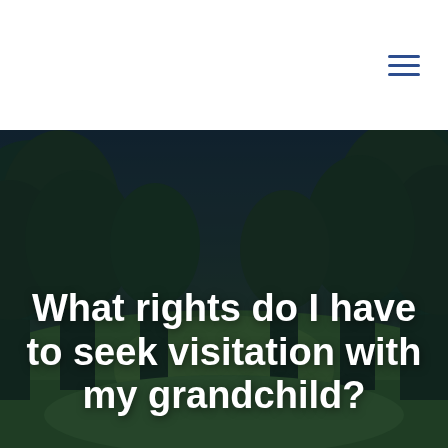[Figure (other): Navigation menu hamburger icon (three horizontal blue lines) in the top-right corner of a white header bar]
[Figure (photo): A dark, moody outdoor photograph of a forest park scene with lush green trees, a grassy clearing, and a dramatic sky. The image has a dark blue-green overlay tint. White bold text reads: 'What rights do I have to seek visitation with my grandchild?']
What rights do I have to seek visitation with my grandchild?